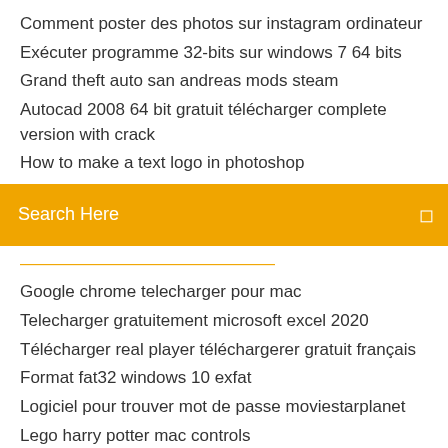Comment poster des photos sur instagram ordinateur
Exécuter programme 32-bits sur windows 7 64 bits
Grand theft auto san andreas mods steam
Autocad 2008 64 bit gratuit télécharger complete version with crack
How to make a text logo in photoshop
Search Here
Google chrome telecharger pour mac
Telecharger gratuitement microsoft excel 2020
Télécharger real player téléchargerer gratuit français
Format fat32 windows 10 exfat
Logiciel pour trouver mot de passe moviestarplanet
Lego harry potter mac controls
Apple itunes télécharger for windows 7 64 bit
Télécharger we are your friends complete movie hd
French to english translation app for android
Comment ecrire un texte et limprimer